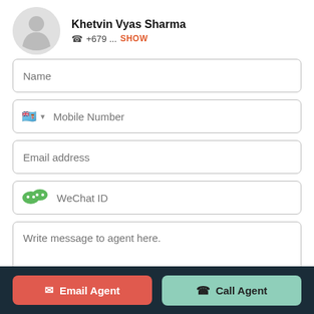Khetvin Vyas Sharma
+679 ... SHOW
[Figure (photo): Circular avatar/profile photo placeholder with grey background]
Name
Mobile Number
Email address
WeChat ID
Write message to agent here.
Email Agent
Call Agent